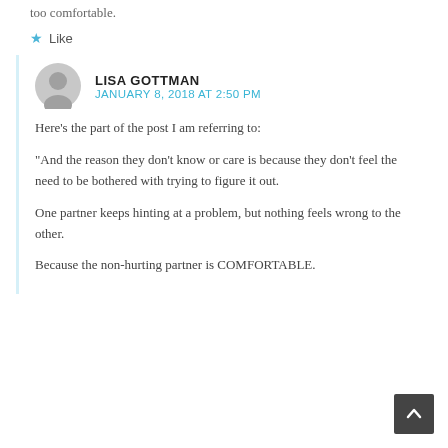too comfortable.
Like
LISA GOTTMAN
JANUARY 8, 2018 AT 2:50 PM
Here's the part of the post I am referring to:
“And the reason they don't know or care is because they don't feel the need to be bothered with trying to figure it out.

One partner keeps hinting at a problem, but nothing feels wrong to the other.

Because the non-hurting partner is COMFORTABLE.